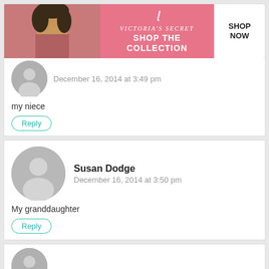[Figure (screenshot): Victoria's Secret advertisement banner - pink background with model, VS logo, 'SHOP THE COLLECTION' text and SHOP NOW button]
December 16, 2014 at 3:49 pm
my niece
Reply
Susan Dodge
December 16, 2014 at 3:50 pm
My granddaughter
Reply
CLOSE
[Figure (screenshot): ULTA Beauty advertisement banner with beauty product images and SHOP NOW button]